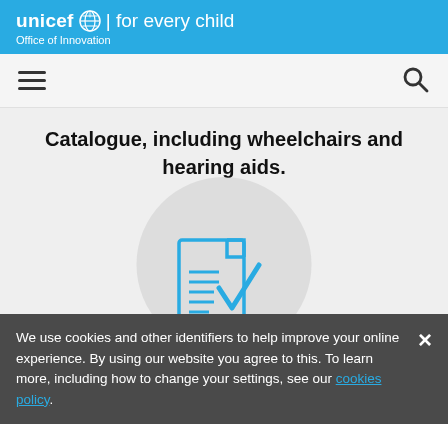unicef for every child | Office of Innovation
[Figure (screenshot): Navigation bar with hamburger menu icon on the left and search icon on the right]
Catalogue, including wheelchairs and hearing aids.
[Figure (illustration): A document/checklist icon with a blue checkmark, on a grey circular background]
We use cookies and other identifiers to help improve your online experience. By using our website you agree to this. To learn more, including how to change your settings, see our cookies policy.